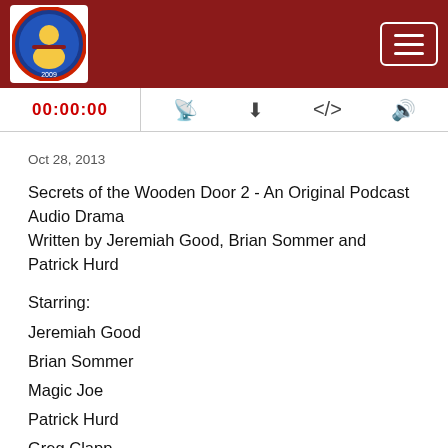[Figure (logo): Podcast logo with illustrated detective character and red circular badge design]
Navigation hamburger menu button
00:00:00
Oct 28, 2013
Secrets of the Wooden Door 2 - An Original Podcast Audio Drama
Written by Jeremiah Good, Brian Sommer and Patrick Hurd
Starring:
Jeremiah Good
Brian Sommer
Magic Joe
Patrick Hurd
Greg Clapp
Clinton Alvord
Calvin Barrie